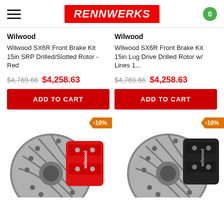RennWerks — 0
Wilwood
Wilwood SX6R Front Brake Kit 15in SRP Drilled/Slotted Rotor - Red
$4,769.66  $4,258.63
ADD TO CART
Wilwood
Wilwood SX6R Front Brake Kit 15in Lug Drive Drilled Rotor w/ Lines 1...
$4,769.66  $4,258.63
ADD TO CART
[Figure (photo): Wilwood brake kit with red caliper and drilled/slotted rotor, -10% discount badge]
[Figure (photo): Wilwood brake kit with black caliper and drilled/slotted rotor, -10% discount badge]